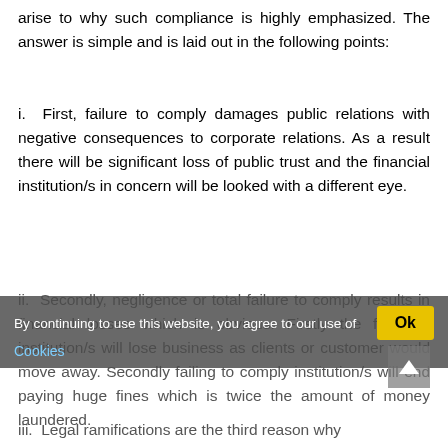arise to why such compliance is highly emphasized. The answer is simple and is laid out in the following points:
i. First, failure to comply damages public relations with negative consequences to corporate relations. As a result there will be significant loss of public trust and the financial institution/s in concern will be looked with a different eye.
ii. Secondly, negligence or total failure to comply results in financial losses which is obvious. Firstly the financial institution/s will lose business as clients or customer would move away. Secondly failing to comply institution/s will end paying huge fines which is twice the amount of money laundered.
iii. Legal ramifications are the third reason why